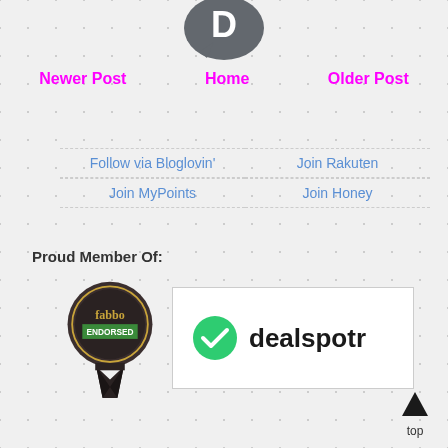[Figure (logo): Disqus logo partial at top]
Newer Post   Home   Older Post
Follow via Bloglovin'
Join MyPoints
Join Rakuten
Join Honey
Proud Member Of:
[Figure (logo): Fabbo Endorsed badge and Dealspotr logo]
top